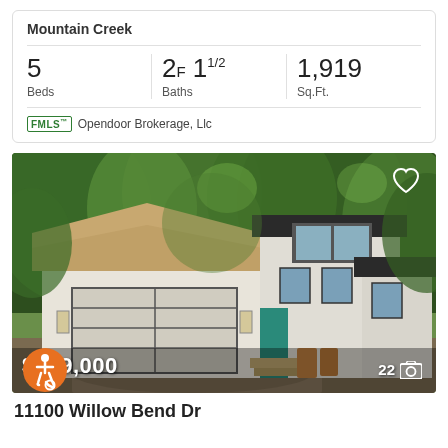Mountain Creek
5 Beds | 2F 1½ Baths | 1,919 Sq.Ft.
FMLS™  Opendoor Brokerage, Llc
[Figure (photo): Exterior photo of a modern two-story house with tan/beige roof, white siding, large garage door, and surrounded by tall green trees. Price overlay shows $789,000, photo count shows 22.]
11100 Willow Bend Dr